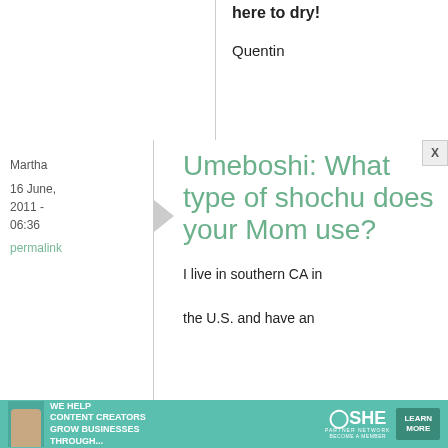here to dry!
Quentin
Martha
16 June, 2011 - 06:36
permalink
Umeboshi: What type of shochu does your Mom use?
I live in southern CA in the U.S. and have an
[Figure (infographic): SHE Partner Network advertisement banner: WE HELP CONTENT CREATORS GROW BUSINESSES THROUGH... with LEARN MORE button]